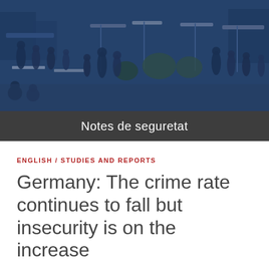[Figure (photo): Blue-tinted street scene with a crowd of people in an outdoor market or plaza area with umbrellas and trees]
Notes de seguretat
ENGLISH / STUDIES AND REPORTS
Germany: The crime rate continues to fall but insecurity is on the increase
27 maig 2019